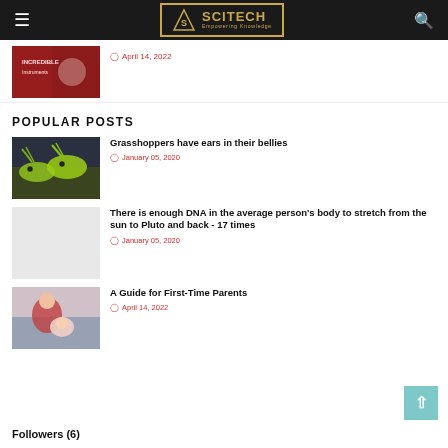SciTech — Empowering Knowledge
[Figure (photo): Partial thumbnail of article with red/pink tones, partially visible]
April 14, 2022
POPULAR POSTS
[Figure (photo): Yellow-green grasshoppers on dark background]
Grasshoppers have ears in their bellies
January 05, 2020
[Figure (photo): Light gray placeholder thumbnail for DNA article]
There is enough DNA in the average person's body to stretch from the sun to Pluto and back - 17 times
January 05, 2020
[Figure (photo): Mother reading to baby]
A Guide for First-Time Parents
April 14, 2022
Followers (6)